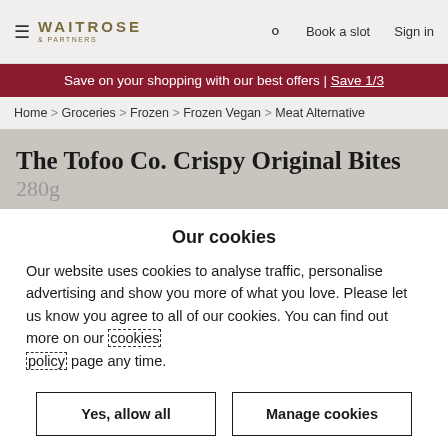≡ WAITROSE & PARTNERS  🔍  Book a slot  Sign in
Save on your shopping with our best offers | Save 1/3
Home > Groceries > Frozen > Frozen Vegan > Meat Alternative
The Tofoo Co. Crispy Original Bites 280g
Our cookies
Our website uses cookies to analyse traffic, personalise advertising and show you more of what you love. Please let us know you agree to all of our cookies. You can find out more on our cookies policy page any time.
Yes, allow all
Manage cookies